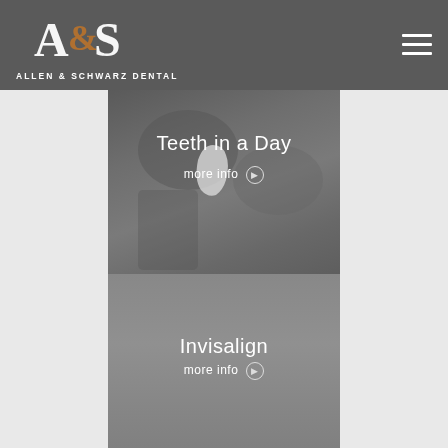Allen & Schwarz Dental
[Figure (screenshot): Dental service panel showing Teeth in a Day with dental equipment imagery in background]
[Figure (screenshot): Dental service panel showing Invisalign with gray background]